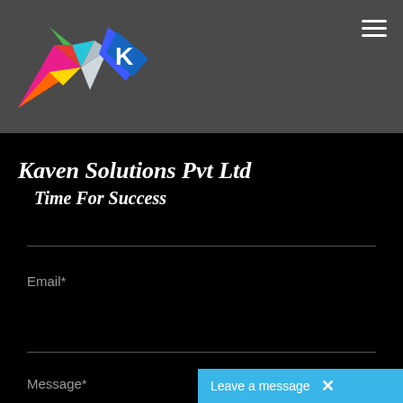[Figure (logo): Kaven Solutions colorful star/rocket logo with geometric shapes in pink, orange, yellow, green, teal, blue on grey background]
Kaven Solutions Pvt Ltd
Time For Success
Email*
Message*
Leave a message